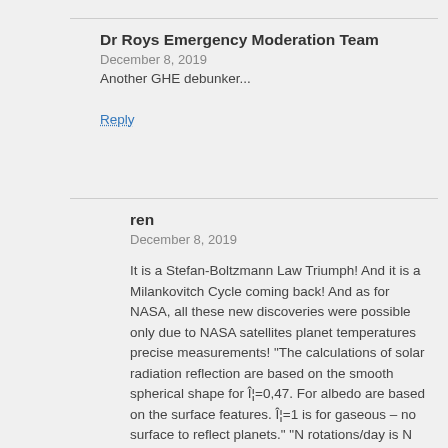Dr Roys Emergency Moderation Team
December 8, 2019
Another GHE debunker...
Reply
ren
December 8, 2019
It is a Stefan-Boltzmann Law Triumph! And it is a Milankovitch Cycle coming back! And as for NASA, all these new discoveries were possible only due to NASA satellites planet temperatures precise measurements! “The calculations of solar radiation reflection are based on the smooth spherical shape for Îµ=0,47. For albedo are based on the surface features. Îµ=1 is for gaseous – no surface to reflect planets.” “N rotations/day is N rotations/24 hours. The faster – the higher is its average